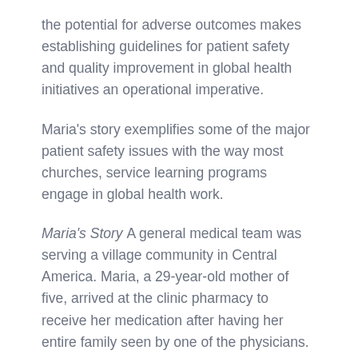the potential for adverse outcomes makes establishing guidelines for patient safety and quality improvement in global health initiatives an operational imperative.
Maria's story exemplifies some of the major patient safety issues with the way most churches, service learning programs engage in global health work.
Maria's Story A general medical team was serving a village community in Central America. Maria, a 29-year-old mother of five, arrived at the clinic pharmacy to receive her medication after having her entire family seen by one of the physicians. Maria had three prescriptions for herself, and each child received prescriptions for parasite medications and vitamins. At the time of the visit, one of the